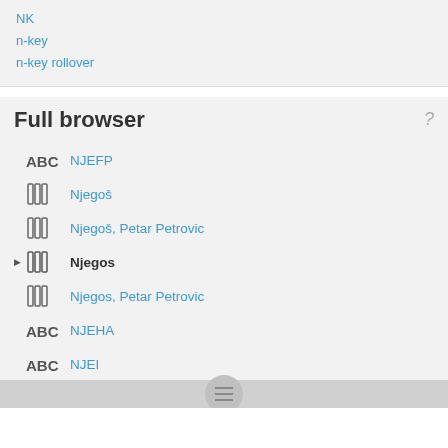NK
n-key
n-key rollover
Full browser
NJEFP
Njegoš
Njegoš, Petar Petrovic
Njegos
Njegos, Petar Petrovic
NJEHA
NJEI
NJEIS